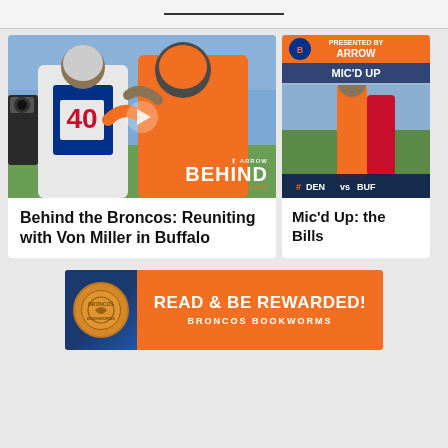[Figure (photo): Football players hugging on field — Von Miller in Bills jersey #40 and a Broncos player in orange, with ARROW BEHIND THE BRONCOS overlay text]
Behind the Broncos: Reuniting with Von Miller in Buffalo
[Figure (photo): Mic'd Up segment thumbnail showing DEN vs BUF game with orange Arrow branding bar at top]
Mic'd Up: the Bills
[Figure (infographic): READ & BE REWARDED! BRONCOS BOOKWORMS advertisement banner with orange background and dark blue left panel with circular logo]